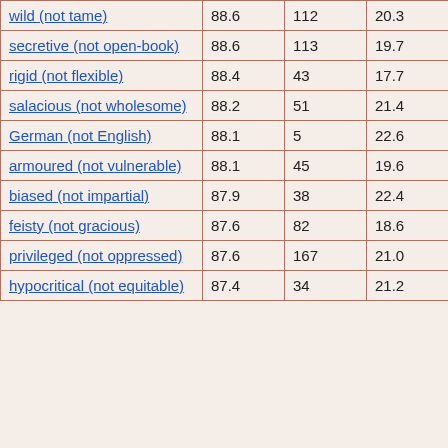| wild (not tame) | 88.6 | 112 | 20.3 | 78 |
| secretive (not open-book) | 88.6 | 113 | 19.7 | 70 |
| rigid (not flexible) | 88.4 | 43 | 17.7 | 73 |
| salacious (not wholesome) | 88.2 | 51 | 21.4 | 59 |
| German (not English) | 88.1 | 5 | 22.6 | 43 |
| armoured (not vulnerable) | 88.1 | 45 | 19.6 | 84 |
| biased (not impartial) | 87.9 | 38 | 22.4 | 58 |
| feisty (not gracious) | 87.6 | 82 | 18.6 | 40 |
| privileged (not oppressed) | 87.6 | 167 | 21.0 | 42 |
| hypocritical (not equitable) | 87.4 | 34 | 21.2 | 54 |